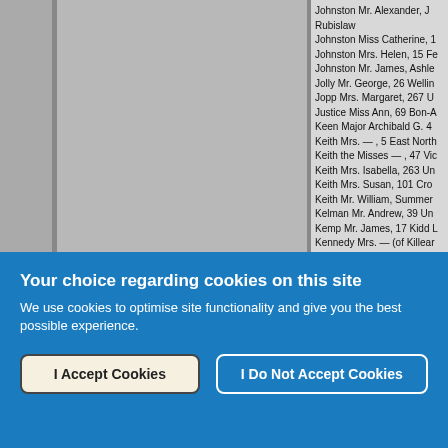[Figure (screenshot): Screenshot of a genealogical directory or address book listing names alphabetically (Johnston, Jolly, Jopp, Justice, Keen, Keith, Kelman, Kemp, Kennedy) with partial street addresses, shown behind a cookie consent overlay. Left side has grey column panels.]
Johnston Mr. Alexander, Rubislaw
Johnston Miss Catherine, 1...
Johnston Mrs. Helen, 15 Fe...
Johnston Mr. James, Ashle...
Jolly Mr. George, 26 Wellin...
Jopp Mrs. Margaret, 267 U...
Justice Miss Ann, 69 Bon-A...
Keen Major Archibald G. 4...
Keith Mrs. — , 5 East North...
Keith the Misses — , 47 Vic...
Keith Mrs. Isabella, 263 Un...
Keith Mrs. Susan, 101 Cro...
Keith Mr. William, Summer...
Kelman Mr. Andrew, 39 Un...
Kemp Mr. James, 17 Kidd L...
Kennedy Mrs. — (of Killear...
Your choice regarding cookies on this site
We use cookies to optimise site functionality and give you the best possible experience.
I Accept Cookies
I Do Not Accept Cookies